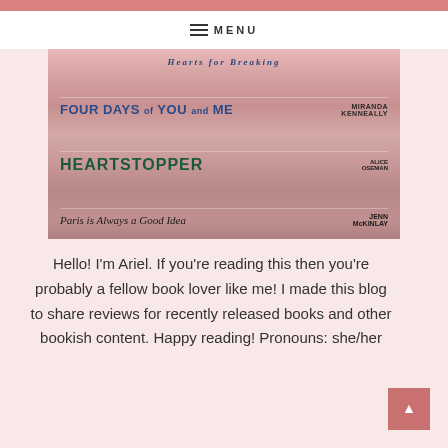MENU
[Figure (photo): Stack of pink-covered books including 'Four Days of You and Me' by Miranda Kenneally, 'Heartstopper', and 'Paris is Always a Good Idea' by Jenn McKinlay]
Hello! I'm Ariel. If you're reading this then you're probably a fellow book lover like me! I made this blog to share reviews for recently released books and other bookish content. Happy reading! Pronouns: she/her